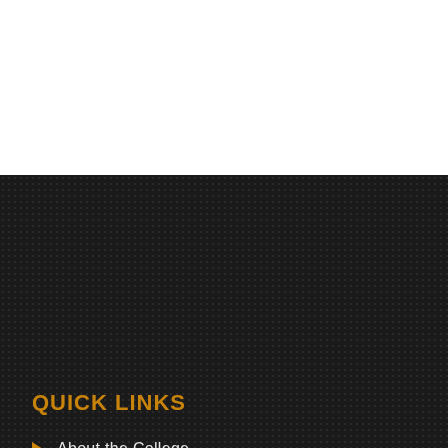QUICK LINKS
About the College
President's Message
Principal's Message
Our Torch Bearers
RTI